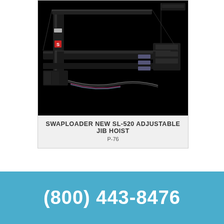[Figure (photo): Photo of Swaploader SL-520 Adjustable Jib Hoist — a black heavy-duty hook-lift / jib hoist mechanism photographed against a black background, showing the vertical mast with Swaploader branding and the long horizontal rail frame.]
SWAPLOADER NEW SL-520 ADJUSTABLE JIB HOIST
P-76
(800) 443-8476